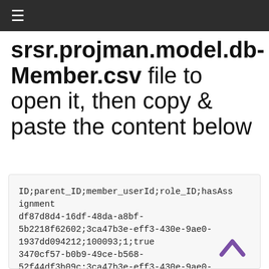≡
srsr.projman.model.db-Member.csv file to open it, then copy & paste the content below
ID;parent_ID;member_userId;role_ID;hasAssignment
df87d8d4-16df-48da-a8bf-5b2218f62602;3ca47b3e-eff3-430e-9ae0-1937dd094212;100093;1;true
3470cf57-b0b9-49ce-b568-52f44df3b09c;3ca47b3e-eff3-430e-9ae0-1937dd094212;100095;2;true
81e89fd2-b2d8-4af3-a4b2-2cadfc69e6de;b85cf0b8-2ff3-40a7-af20-52fa024fbce6;100096;1;true
7a...